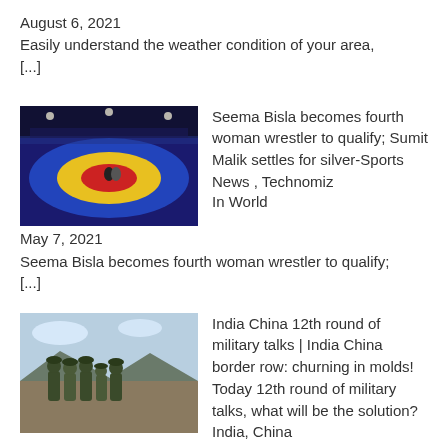August 6, 2021
Easily understand the weather condition of your area, [...]
[Figure (photo): Wrestling arena with blue and yellow/red mats viewed from above, athletes and audience visible]
Seema Bisla becomes fourth woman wrestler to qualify; Sumit Malik settles for silver-Sports News , Technomiz
In World
May 7, 2021
Seema Bisla becomes fourth woman wrestler to qualify; [...]
[Figure (photo): Group of soldiers in military gear standing together outdoors in a mountainous/barren landscape]
India China 12th round of military talks | India China border row: churning in molds! Today 12th round of military talks, what will be the solution? India, China 12th round of military talks today on LAC standoff
In World